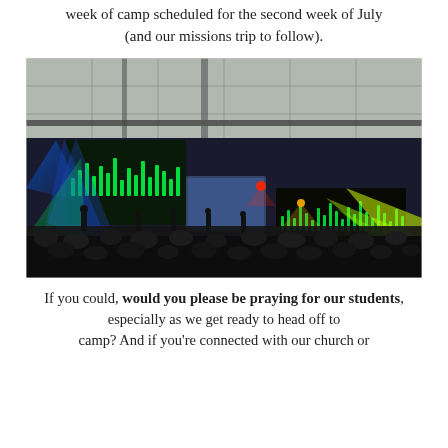week of camp scheduled for the second week of July (and our missions trip to follow).
[Figure (photo): Concert or worship event in a large auditorium with colorful stage lighting including blue, green, and yellow-green laser beams, LED display walls with waveform patterns, performers on stage, and a large audience in silhouette.]
If you could, would you please be praying for our students, especially as we get ready to head off to camp? And if you're connected with our church or